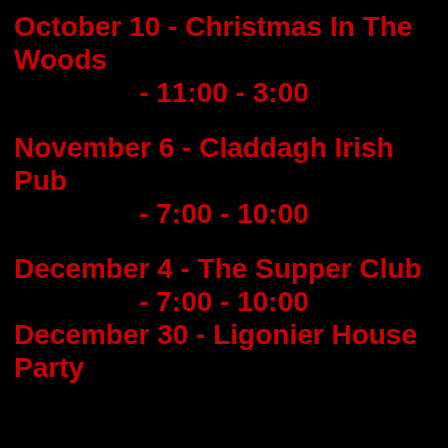October 10 - Christmas In The Woods
- 11:00 - 3:00
November 6 - Claddagh Irish Pub
- 7:00 - 10:00
December 4 - The Supper Club
- 7:00 - 10:00
December 30 - Ligonier House Party